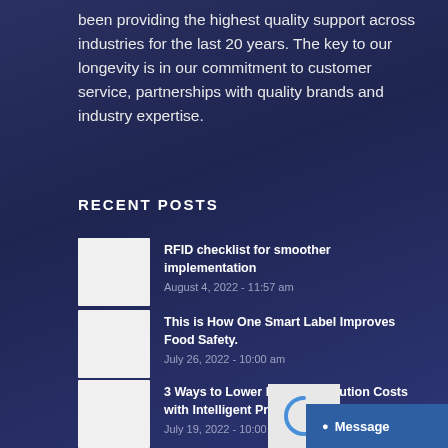been providing the highest quality support across industries for the last 20 years. The key to our longevity is in our commitment to customer service, partnerships with quality brands and industry expertise.
RECENT POSTS
RFID checklist for smoother implementation — August 4, 2022 - 11:57 am
This is How One Smart Label Improves Food Safety. — July 26, 2022 - 10:00 am
3 Ways to Lower Food Distribution Costs with Intelligent Product Identification — July 19, 2022 - 10:00 am